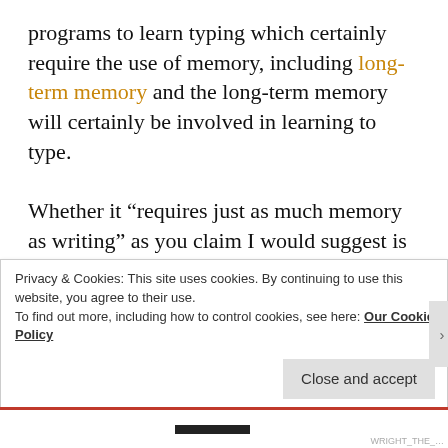programs to learn typing which certainly require the use of memory, including long-term memory and the long-term memory will certainly be involved in learning to type.

Whether it “requires just as much memory as writing” as you claim I would suggest is an unfounded statement. It may be true or it may not be, I am uncertain that it can even be measured reliably. However what I would say is that even if typing is more demanding on the memory than stylus writing is, that still wouldn’t make it optimal for language learning to the
Privacy & Cookies: This site uses cookies. By continuing to use this website, you agree to their use.
To find out more, including how to control cookies, see here: Our Cookie Policy
Close and accept